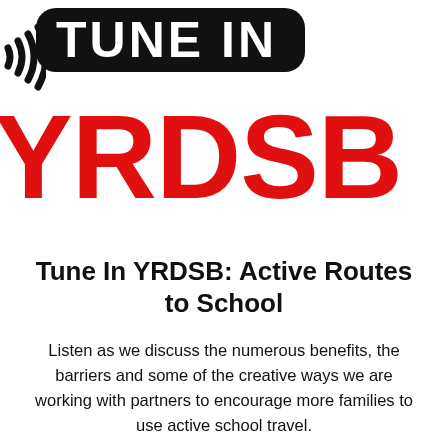[Figure (logo): Tune In YRDSB podcast logo with radio wave icon on the left, black rounded rectangle badge reading TUNE IN in white bold text, and YRDSB in large bold red text below]
Tune In YRDSB: Active Routes to School
Listen as we discuss the numerous benefits, the barriers and some of the creative ways we are working with partners to encourage more families to use active school travel.